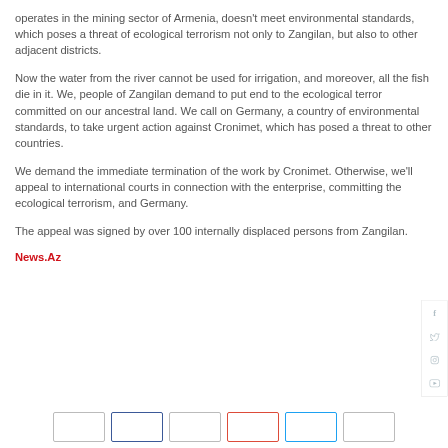operates in the mining sector of Armenia, doesn't meet environmental standards, which poses a threat of ecological terrorism not only to Zangilan, but also to other adjacent districts.
Now the water from the river cannot be used for irrigation, and moreover, all the fish die in it. We, people of Zangilan demand to put end to the ecological terror committed on our ancestral land. We call on Germany, a country of environmental standards, to take urgent action against Cronimet, which has posed a threat to other countries.
We demand the immediate termination of the work by Cronimet. Otherwise, we'll appeal to international courts in connection with the enterprise, committing the ecological terrorism, and Germany.
The appeal was signed by over 100 internally displaced persons from Zangilan.
News.Az